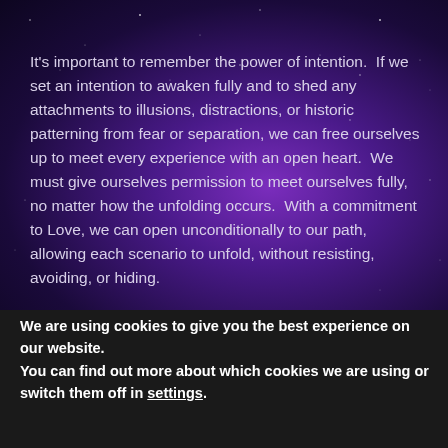It's important to remember the power of intention.  If we set an intention to awaken fully and to shed any attachments to illusions, distractions, or historic patterning from fear or separation, we can free ourselves up to meet every experience with an open heart.  We must give ourselves permission to meet ourselves fully, no matter how the unfolding occurs.  With a commitment to Love, we can open unconditionally to our path, allowing each scenario to unfold, without resisting, avoiding, or hiding.
We are using cookies to give you the best experience on our website.
You can find out more about which cookies we are using or switch them off in settings.